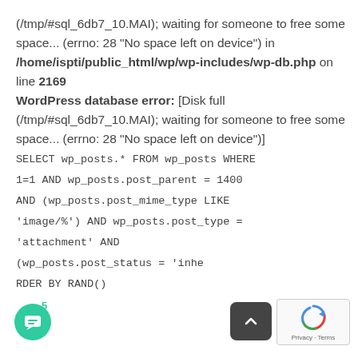(/tmp/#sql_6db7_10.MAI); waiting for someone to free some space... (errno: 28 "No space left on device") in /home/ispti/public_html/wp/wp-includes/wp-db.php on line 2169
WordPress database error: [Disk full (/tmp/#sql_6db7_10.MAI); waiting for someone to free some space... (errno: 28 "No space left on device")]
SELECT wp_posts.* FROM wp_posts WHERE 1=1 AND wp_posts.post_parent = 1400 AND (wp_posts.post_mime_type LIKE 'image/%') AND wp_posts.post_type = 'attachment' AND (wp_posts.post_status = 'inhe... ORDER BY RAND()